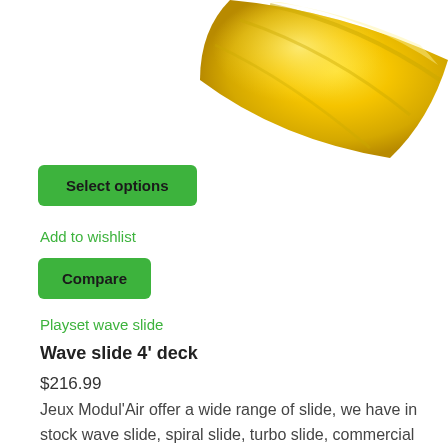[Figure (photo): Yellow plastic wave slide, partial view showing the curved surface of the slide from above/side angle, on white background.]
Select options
Add to wishlist
Compare
Playset wave slide
Wave slide 4' deck
$216.99
Jeux Modul'Air offer a wide range of slide, we have in stock wave slide, spiral slide, turbo slide, commercial slide and more....